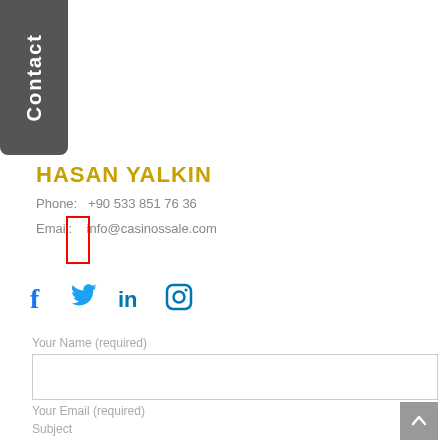Contact
HASAN YALKIN
Phone:   +90 533 851 76 36
Email:    info@casinossale.com
[Figure (infographic): Social media icons: Facebook, Twitter, LinkedIn, Instagram in blue]
Your Name (required)
Your Email (required)
Subject
Your Message